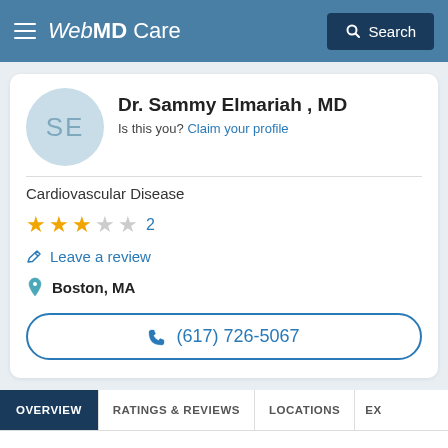WebMD Care | Search
Dr. Sammy Elmariah , MD
Is this you? Claim your profile
Cardiovascular Disease
[Figure (other): Star rating: 3 out of 5 stars, 2 reviews]
Leave a review
Boston, MA
(617) 726-5067
OVERVIEW
RATINGS & REVIEWS
LOCATIONS
EX